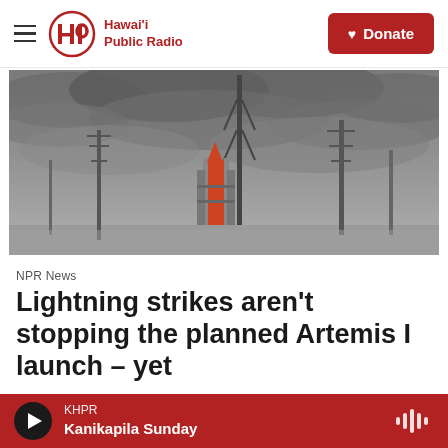Hawai'i Public Radio — Donate
[Figure (photo): NASA Artemis I rocket on launch pad under dark stormy clouds with lightning protection towers visible]
NPR News
Lightning strikes aren't stopping the planned Artemis I launch – yet
The Associated Press  7 hours ago
KHPR  Kanikapila Sunday